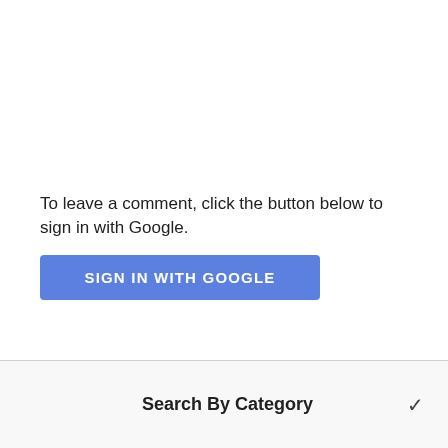To leave a comment, click the button below to sign in with Google.
[Figure (other): Blue 'SIGN IN WITH GOOGLE' button]
Search By Category